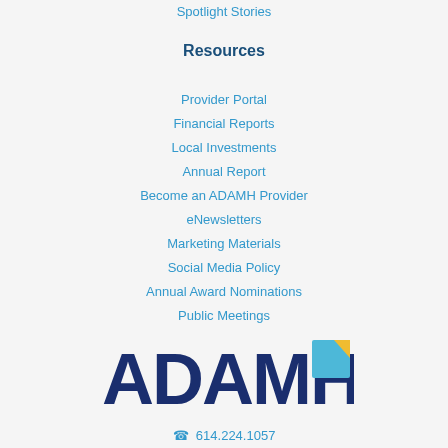Spotlight Stories
Resources
Provider Portal
Financial Reports
Local Investments
Annual Report
Become an ADAMH Provider
eNewsletters
Marketing Materials
Social Media Policy
Annual Award Nominations
Public Meetings
[Figure (logo): ADAMH logo — dark navy blue text 'ADAMH' with a teal/blue and gold/yellow square accent on the letter H]
614.224.1057